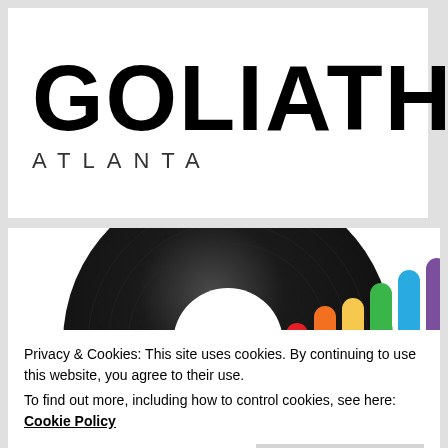[Figure (logo): GOLIATH ATLANTA logo — large bold black text 'GOLIATH' with 'ATLANTA' in spaced capitals beneath]
[Figure (illustration): Vinyl record graphic with rainbow-colored bar chart equalizer bars (red, orange, yellow, green, blue, purple) rising from the right side of the record]
Privacy & Cookies: This site uses cookies. By continuing to use this website, you agree to their use.
To find out more, including how to control cookies, see here: Cookie Policy
Close and accept